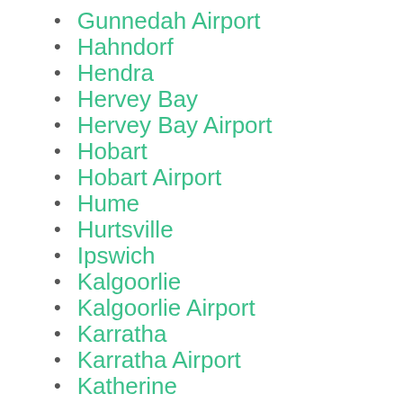Gunnedah Airport
Hahndorf
Hendra
Hervey Bay
Hervey Bay Airport
Hobart
Hobart Airport
Hume
Hurtsville
Ipswich
Kalgoorlie
Kalgoorlie Airport
Karratha
Karratha Airport
Katherine
Katherine Airport
Kenmore